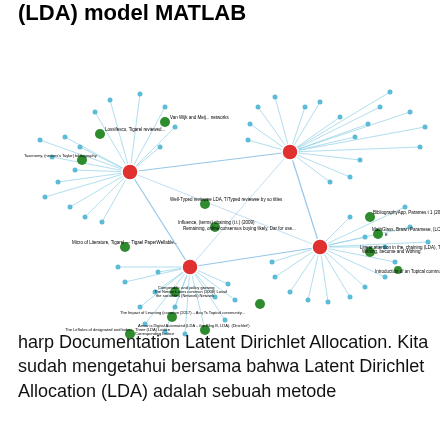(LDA) model MATLAB
[Figure (network-graph): A network graph showing interconnected nodes. Three large red hub nodes are connected by lines (edges) to many smaller cyan/teal satellite nodes and several medium green nodes. Edges between hubs and nearby nodes are blue lines. The network appears to represent a topic model (LDA) relationship structure with labels of paper/document names on green nodes.]
harp Documentation Latent Dirichlet Allocation. Kita sudah mengetahui bersama bahwa Latent Dirichlet Allocation (LDA) adalah sebuah metode